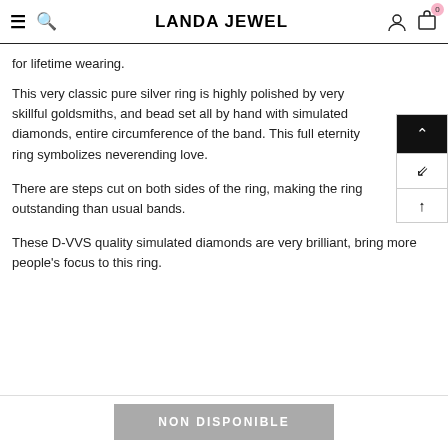LANDA JEWEL
for lifetime wearing.
This very classic pure silver ring is highly polished by very skillful goldsmiths, and bead set all by hand with simulated diamonds, entire circumference of the band. This full eternity ring symbolizes neverending love.
There are steps cut on both sides of the ring, making the ring outstanding than usual bands.
These D-VVS quality simulated diamonds are very brilliant, bring more people's focus to this ring.
NON DISPONIBLE